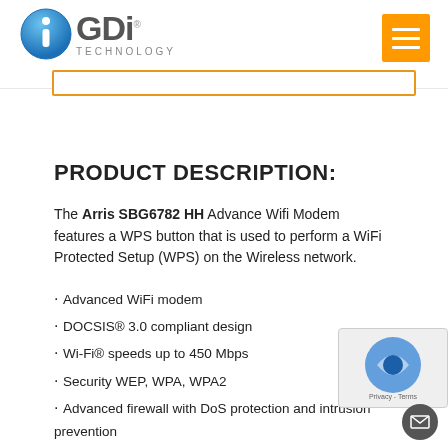GDi TECHNOLOGY
PRODUCT DESCRIPTION:
The Arris SBG6782 HH Advance Wifi Modem features a WPS button that is used to perform a WiFi Protected Setup (WPS) on the Wireless network.
Advanced WiFi modem
DOCSIS® 3.0 compliant design
Wi-Fi® speeds up to 450 Mbps
Security WEP, WPA, WPA2
Advanced firewall with DoS protection and intrusion prevention
4 port Gigabit Ethernet Wireless Router
Dual Band Concurrent Radios 2.4GHz 802.11n and